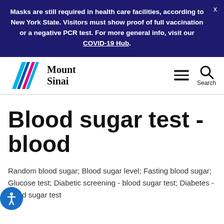Masks are still required in health care facilities, according to New York State. Visitors must show proof of full vaccination or a negative PCR test. For more general info, visit our COVID-19 Hub.
[Figure (logo): Mount Sinai logo with colorful overlapping triangles and bold serif text reading 'Mount Sinai']
Blood sugar test - blood
Random blood sugar; Blood sugar level; Fasting blood sugar; Glucose test; Diabetic screening - blood sugar test; Diabetes - blood sugar test